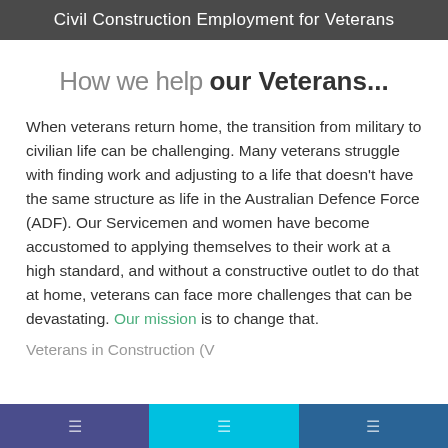Civil Construction Employment for Veterans
How we help our Veterans...
When veterans return home, the transition from military to civilian life can be challenging. Many veterans struggle with finding work and adjusting to a life that doesn't have the same structure as life in the Australian Defence Force (ADF). Our Servicemen and women have become accustomed to applying themselves to their work at a high standard, and without a constructive outlet to do that at home, veterans can face more challenges that can be devastating. Our mission is to change that.